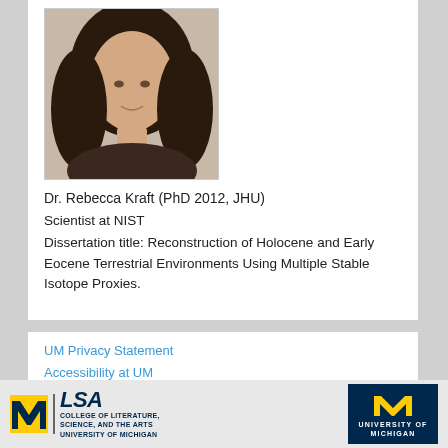[Figure (photo): Headshot photo of Dr. Rebecca Kraft, a woman with long dark brown hair, facing slightly toward camera, white background.]
Dr. Rebecca Kraft (PhD 2012, JHU)
Scientist at NIST
Dissertation title: Reconstruction of Holocene and Early Eocene Terrestrial Environments Using Multiple Stable Isotope Proxies.
UM Privacy Statement
Accessibility at UM
[Figure (logo): LSA College of Literature, Science, and the Arts University of Michigan logo with block M in yellow.]
[Figure (logo): University of Michigan block M logo on navy blue background.]